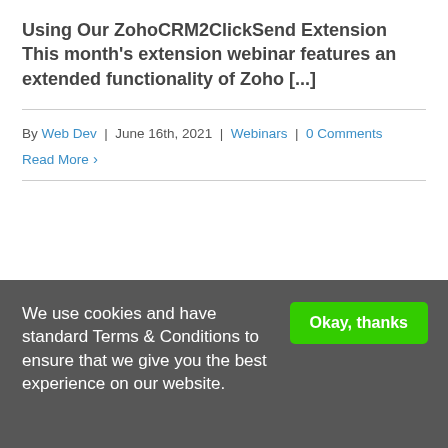Using Our ZohoCRM2ClickSend Extension This month's extension webinar features an extended functionality of Zoho [...]
By Web Dev | June 16th, 2021 | Webinars | 0 Comments
Read More ›
We use cookies and have standard Terms & Conditions to ensure that we give you the best experience on our website.